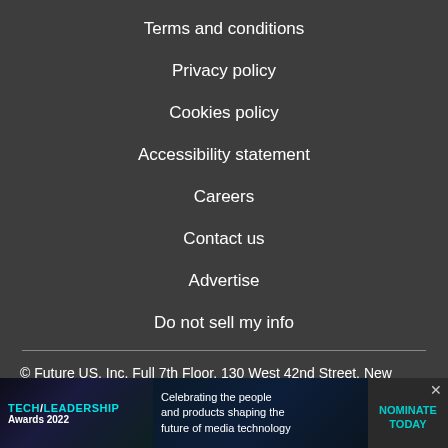Terms and conditions
Privacy policy
Cookies policy
Accessibility statement
Careers
Contact us
Advertise
Do not sell my info
© Future US, Inc. Full 7th Floor, 130 West 42nd Street, New
[Figure (other): Tech Leadership Awards 2022 advertisement banner: Celebrating the people and products shaping the future of media technology. Nominate Today.]